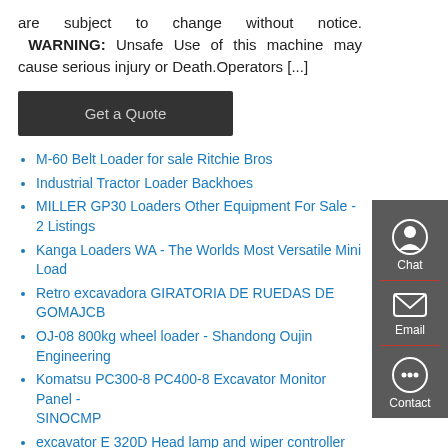are subject to change without notice. WARNING: Unsafe Use of this machine may cause serious injury or Death.Operators [...]
[Figure (other): Get a Quote button - dark gray rectangular button]
M-60 Belt Loader for sale Ritchie Bros
Industrial Tractor Loader Backhoes
MILLER GP30 Loaders Other Equipment For Sale - 2 Listings
Kanga Loaders WA - The Worlds Most Versatile Mini Loader
Retro excavadora GIRATORIA DE RUEDAS DE GOMAJCB
OJ-08 800kg wheel loader - Shandong Oujin Engineering
Komatsu PC300-8 PC400-8 Excavator Monitor Panel - SINOCMP
excavator E 320D Head lamp and wiper controller 227...
Bulk Bag Unloaders - Bulk Processing Equipment
Whell loader xgma indonesia
ERTL JOHN DEERE Wheel Loader 1 50 - EUR 17 03 PicClick DE